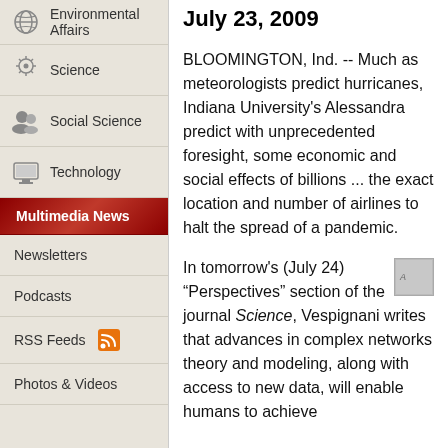Environmental Affairs
Science
Social Science
Technology
Multimedia News
Newsletters
Podcasts
RSS Feeds
Photos & Videos
July 23, 2009
BLOOMINGTON, Ind. -- Much as meteorologists predict hurricanes, Indiana University's Alessa... predict with unprecedented foresight, s... economic and social effects of billions ... the exact location and number of airline... to halt the spread of a pandemic.
In tomorrow's (July 24) "Perspectives" section of the journal Science, Vespignani writes that advances in complex networks theory and modeling, along with access to new data, will enable humans to achieve ... (continues)